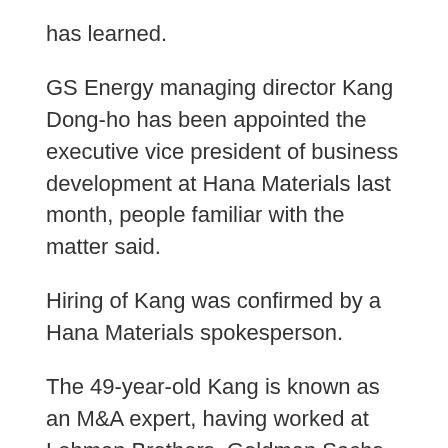has learned.
GS Energy managing director Kang Dong-ho has been appointed the executive vice president of business development at Hana Materials last month, people familiar with the matter said.
Hiring of Kang was confirmed by a Hana Materials spokesperson.
The 49-year-old Kang is known as an M&A expert, having worked at Lehman Brothers, Goldman Sachs and Nomura as well as in business development roles at KT&G, KTB Private Equity and GS Energy.
Kang was given stock options by Hana Materials for